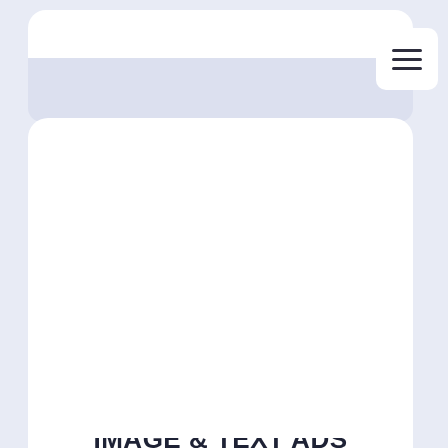IMAGE & TEXT ADS CREATION
Billions of PPC ads appear across the web each day, all competing for the user's attention. Work with a content marketer to plan and execute image and text ads that stick.